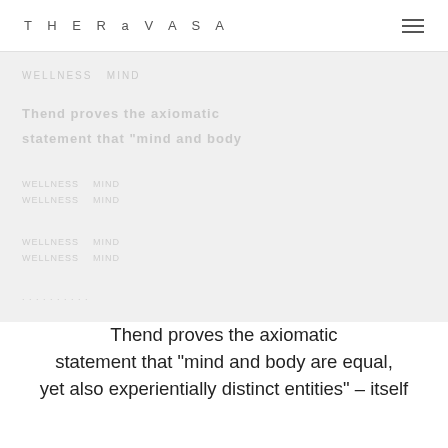THERaVASA
[Figure (photo): Large background image area, mostly white/light grey, with faint blurred text lines visible at top-left suggesting an article or content preview]
Thend proves the axiomatic statement that "mind and body are equal, yet also experientially distinct entities" – itself